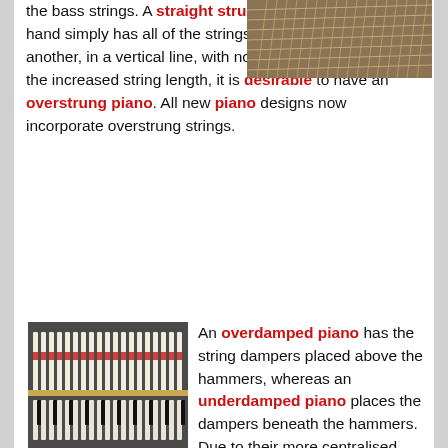the bass strings. A straight strung piano on the other hand simply has all of the strings running parallel to one another, in a vertical line, with no crossing over. Due to the increased string length, it is desirable to have an overstrung piano. All new piano designs now incorporate overstrung strings.
[Figure (photo): Close-up photo of piano strings inside a grand piano, showing crossed overstrung strings viewed from above, wood finish visible]
[Figure (photo): Interior of an upright piano showing hammers and damper mechanism with red felt components, keys visible at bottom]
An overdamped piano has the string dampers placed above the hammers, whereas an underdamped piano places the dampers beneath the hammers. Due to their more centralised position on the strings, an underdamper action is usually the more effective system and is indeed the system